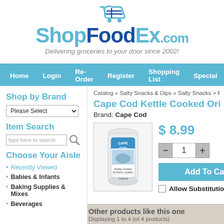[Figure (logo): ShopFoodEx.com logo with shopping cart icon and tagline 'Delivering groceries to your door since 2002!']
Home   Login   Re-Order   Register   Shopping List   Special
Shop by Brand
Item Search
Choose Your Aisle
Recently Viewed
Babies & Infants
Baking Supplies & Mixes
Beverages
Catalog » Salty Snacks & Dips » Salty Snacks > R
Cape Cod Kettle Cooked Orig
Brand: Cape Cod
$ 8.99
[Figure (photo): Cape Cod Kettle Cooked Potato Chips Original bag]
1
Add To Cart
Allow Substitutio
Other products like this one
Displaying 1 to 4 (of 4 products)